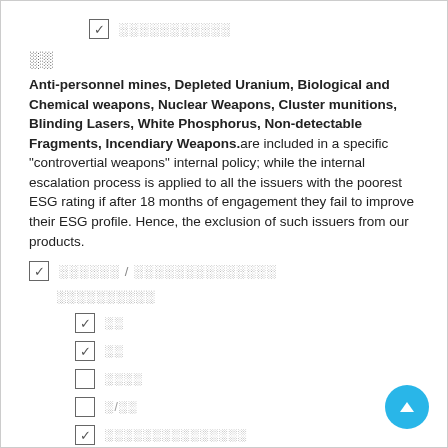☑ [checkbox item - redacted text]
[redacted text]
Anti-personnel mines, Depleted Uranium, Biological and Chemical weapons, Nuclear Weapons, Cluster munitions, Blinding Lasers, White Phosphorus, Non-detectable Fragments, Incendiary Weapons.are included in a specific "controvertial weapons" internal policy; while the internal escalation process is applied to all the issuers with the poorest ESG rating if after 18 months of engagement they fail to improve their ESG profile. Hence, the exclusion of such issuers from our products.
☑ [redacted] / [redacted]
[redacted sub-label]
☑ [redacted]
☑ [redacted]
☐ [redacted]
☐ [redacted]
☑ [redacted]